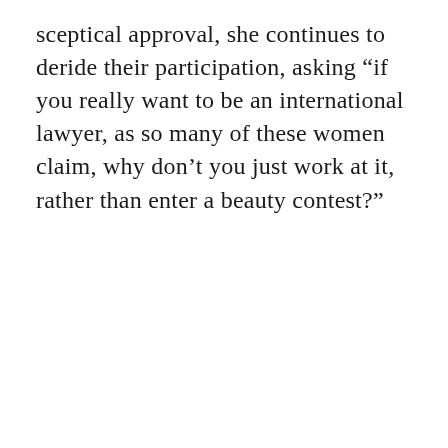sceptical approval, she continues to deride their participation, asking “if you really want to be an international lawyer, as so many of these women claim, why don’t you just work at it, rather than enter a beauty contest?”